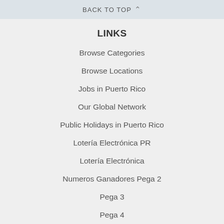BACK TO TOP
LINKS
Browse Categories
Browse Locations
Jobs in Puerto Rico
Our Global Network
Public Holidays in Puerto Rico
Lotería Electrónica PR
Lotería Electrónica
Numeros Ganadores Pega 2
Pega 3
Pega 4
Powerball PR
Real Estate in Puerto Rico